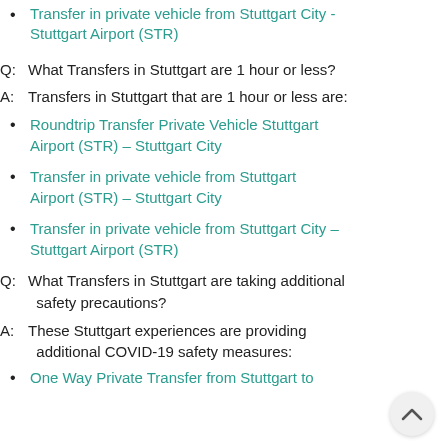Transfer in private vehicle from Stuttgart City - Stuttgart Airport (STR)
Q:  What Transfers in Stuttgart are 1 hour or less?
A:  Transfers in Stuttgart that are 1 hour or less are:
Roundtrip Transfer Private Vehicle Stuttgart Airport (STR) - Stuttgart City
Transfer in private vehicle from Stuttgart Airport (STR) - Stuttgart City
Transfer in private vehicle from Stuttgart City - Stuttgart Airport (STR)
Q:  What Transfers in Stuttgart are taking additional safety precautions?
A:  These Stuttgart experiences are providing additional COVID-19 safety measures:
One Way Private Transfer from Stuttgart to